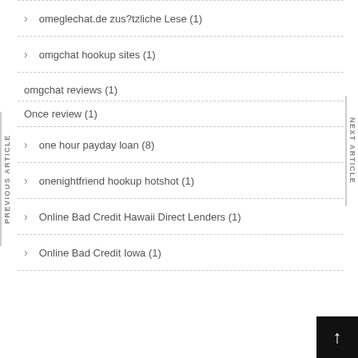omeglechat.de zus?tzliche Lese (1)
omgchat hookup sites (1)
omgchat reviews (1)
Once review (1)
one hour payday loan (8)
onenightfriend hookup hotshot (1)
Online Bad Credit Hawaii Direct Lenders (1)
Online Bad Credit Iowa (1)